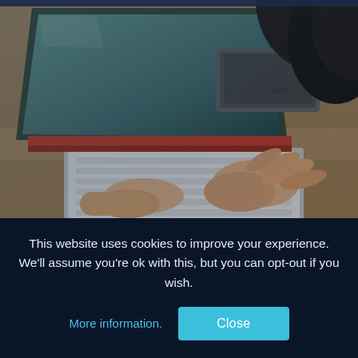[Figure (photo): A person's hands typing on a laptop keyboard on a wooden desk, with a small external hard drive visible in the background and dark hair partially visible at top right. Photo has a slightly cool/desaturated tone.]
How to accept payments
This website uses cookies to improve your experience. We'll assume you're ok with this, but you can opt-out if you wish.
More information.
Close